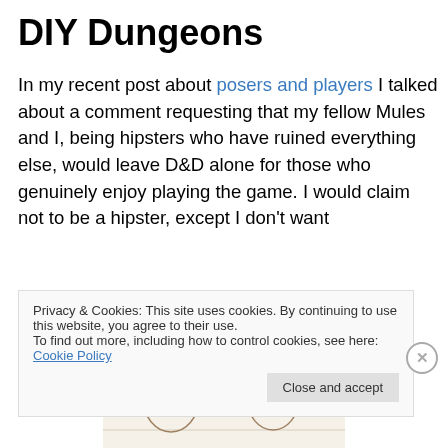DIY Dungeons
In my recent post about posers and players I talked about a comment requesting that my fellow Mules and I, being hipsters who have ruined everything else, would leave D&D alone for those who genuinely enjoy playing the game. I would claim not to be a hipster, except I don't want
[Figure (illustration): Illustrated banner reading 'Teh Olive Garden Presents: DIY DUNGEONS + Old Table' with cartoon owl-like characters]
Privacy & Cookies: This site uses cookies. By continuing to use this website, you agree to their use.
To find out more, including how to control cookies, see here: Cookie Policy
Close and accept